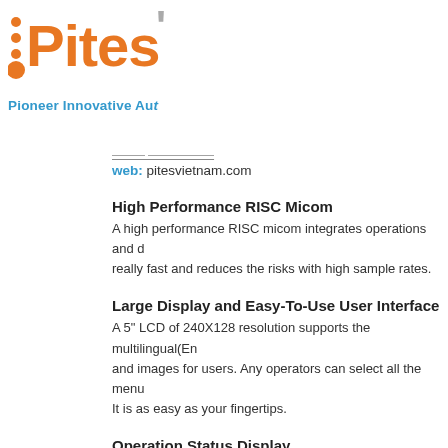[Figure (logo): Pites logo with orange dots and text, subtitle 'Pioneer Innovative Aut']
web: pitesvietnam.com
High Performance RISC Micom
A high performance RISC micom integrates operations and d... really fast and reduces the risks with high sample rates.
Large Display and Easy-To-Use User Interface
A 5" LCD of 240X128 resolution supports the multilingual(En... and images for users. Any operators can select all the menu... It is as easy as your fingertips.
Operation Status Display
DX220 displays the operation status of a compressor and wa...
Compact Size, Simple Operation, and Intelligent Multifu...
Integrating modules of control and display makes it possible... everywhere, even at small spaces, and applied to various sc... screen and simple operation as well as intelligent multifu...